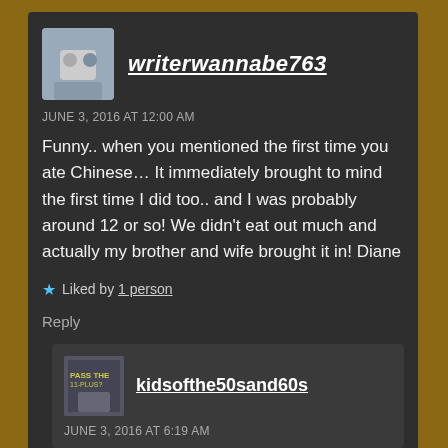writerwannabe763
JUNE 3, 2016 AT 12:00 AM
Funny.. when you mentioned the first time you ate Chinese… It immediately brought to mind the first time I did too.. and I was probably around 12 or so! We didn't eat out much and actually my brother and wife brought it in! Diane
Liked by 1 person
Reply
kidsofthe50sand60s
JUNE 3, 2016 AT 6:19 AM